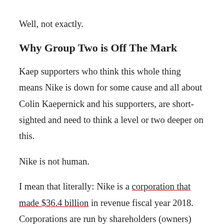Well, not exactly.
Why Group Two is Off The Mark
Kaep supporters who think this whole thing means Nike is down for some cause and all about Colin Kaepernick and his supporters, are short-sighted and need to think a level or two deeper on this.
Nike is not human.
I mean that literally: Nike is a corporation that made $36.4 billion in revenue fiscal year 2018. Corporations are run by shareholders (owners)